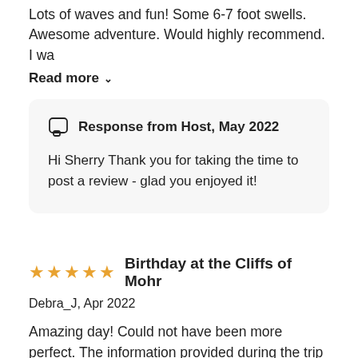Lots of waves and fun! Some 6-7 foot swells. Awesome adventure. Would highly recommend. I wa
Read more ∨
Response from Host, May 2022
Hi Sherry Thank you for taking the time to post a review - glad you enjoyed it!
★★★★★  Birthday at the Cliffs of Mohr
Debra_J, Apr 2022
Amazing day! Could not have been more perfect. The information provided during the trip was so very interesting and informative.
[Figure (photo): Partially visible image at bottom of page]